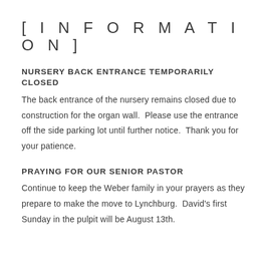[ I N F O R M A T I O N ]
NURSERY BACK ENTRANCE TEMPORARILY CLOSED
The back entrance of the nursery remains closed due to construction for the organ wall.  Please use the entrance off the side parking lot until further notice.  Thank you for your patience.
PRAYING FOR OUR SENIOR PASTOR
Continue to keep the Weber family in your prayers as they prepare to make the move to Lynchburg.  David's first Sunday in the pulpit will be August 13th.